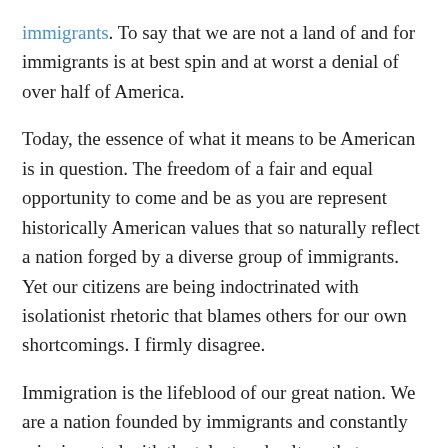immigrants. To say that we are not a land of and for immigrants is at best spin and at worst a denial of over half of America.
Today, the essence of what it means to be American is in question. The freedom of a fair and equal opportunity to come and be as you are represent historically American values that so naturally reflect a nation forged by a diverse group of immigrants. Yet our citizens are being indoctrinated with isolationist rhetoric that blames others for our own shortcomings. I firmly disagree.
Immigration is the lifeblood of our great nation. We are a nation founded by immigrants and constantly reinvigorated with the talent and culture that new people and perspectives bring. Immigrants expand a young and healthy labor force, which balances out an otherwise aging workforce. Immigrants learn to redefine themselves (and their livelihoods) in a new country and as such, are "twice as